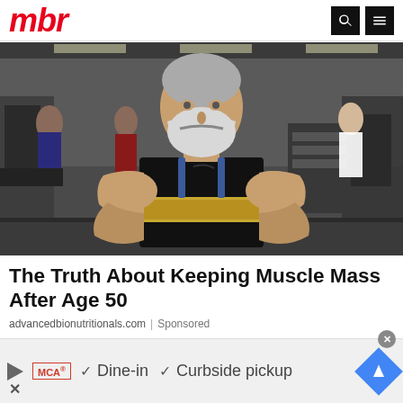mbr
[Figure (photo): Muscular older man with white beard wearing a black sleeveless shirt and gold weightlifting belt, standing in a gym with equipment and other gym-goers in the background. His arms are prominently displayed showing large muscles.]
The Truth About Keeping Muscle Mass After Age 50
advancedbionutritionals.com | Sponsored
[Figure (infographic): Advertisement banner showing a play button, MCA logo, checkmarks with 'Dine-in' and 'Curbside pickup' text, and a blue navigation arrow icon. An X close button and circular close button are also visible.]